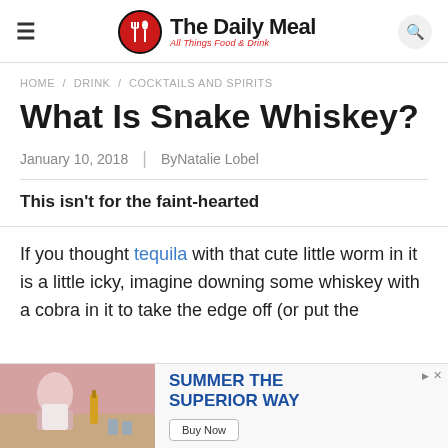The Daily Meal — All Things Food & Drink
HOME / DRINK / COCKTAILS AND SPIRITS
What Is Snake Whiskey?
January 10, 2018 | By Natalie Lobel
This isn't for the faint-hearted
If you thought tequila with that cute little worm in it is a little icky, imagine downing some whiskey with a cobra in it to take the edge off (or put the
[Figure (other): Advertisement banner: Summer The Superior Way with Buy Now button and image of people at a table]